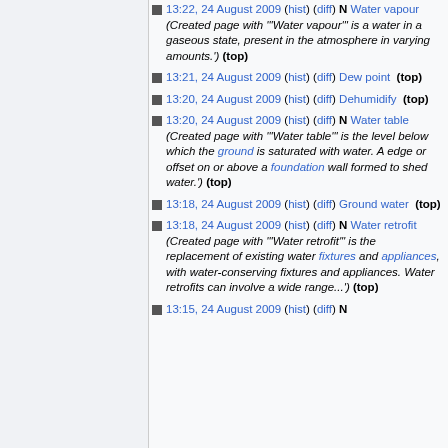13:22, 24 August 2009 (hist) (diff) N Water vapour  (Created page with "'Water vapour' is a water in a gaseous state, present in the atmosphere in varying amounts.") (top)
13:21, 24 August 2009 (hist) (diff) Dew point  (top)
13:20, 24 August 2009 (hist) (diff) Dehumidify  (top)
13:20, 24 August 2009 (hist) (diff) N Water table  (Created page with "'Water table' is the level below which the ground is saturated with water. A edge or offset on or above a foundation wall formed to shed water.") (top)
13:18, 24 August 2009 (hist) (diff) Ground water  (top)
13:18, 24 August 2009 (hist) (diff) N Water retrofit  (Created page with "'Water retrofit' is the replacement of existing water fixtures and appliances, with water-conserving fixtures and appliances. Water retrofits can involve a wide range...") (top)
13:15, 24 August 2009 (hist) (diff) N ...